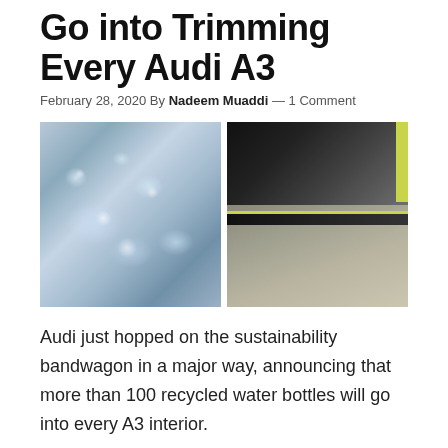Go into Trimming Every Audi A3
February 28, 2020 By Nadeem Muaddi — 1 Comment
[Figure (photo): Two photos side by side: left shows a pile of crushed clear plastic water bottles; right shows a close-up of recycled fabric car seat interior with yellow-green accent stitching and black trim.]
Audi just hopped on the sustainability bandwagon in a major way, announcing that more than 100 recycled water bottles will go into every A3 interior.